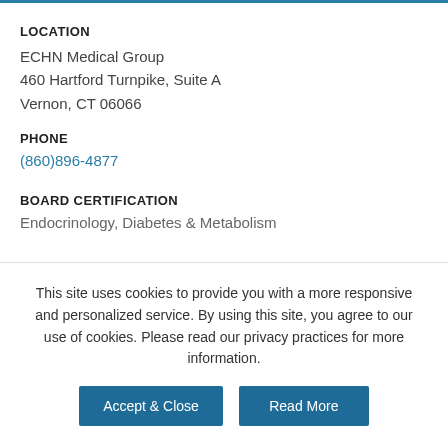LOCATION
ECHN Medical Group
460 Hartford Turnpike, Suite A
Vernon, CT 06066
PHONE
(860)896-4877
BOARD CERTIFICATION
Endocrinology, Diabetes & Metabolism
This site uses cookies to provide you with a more responsive and personalized service. By using this site, you agree to our use of cookies. Please read our privacy practices for more information.